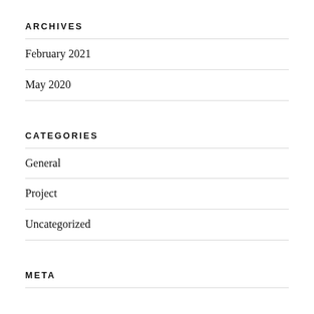ARCHIVES
February 2021
May 2020
CATEGORIES
General
Project
Uncategorized
META